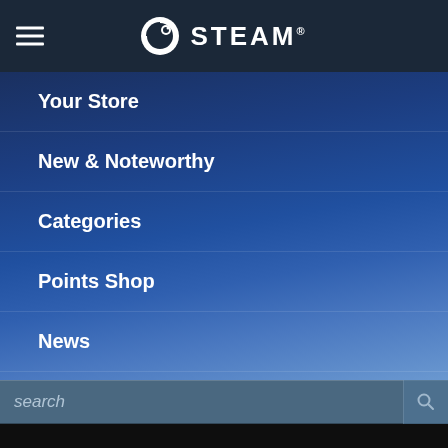STEAM
Your Store
New & Noteworthy
Categories
Points Shop
News
Labs
search
[Figure (illustration): A cracked Liberty Bell illustration wrapped in red ribbons, set against a dark background with grungy ink-splatter effects at the edges.]